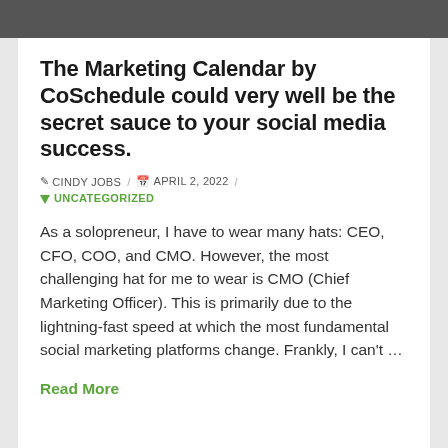[Figure (photo): Top portion of a person's image, cropped, shown at top of page as a dark banner]
The Marketing Calendar by CoSchedule could very well be the secret sauce to your social media success.
✎ CINDY JOBS / 📅 APRIL 2, 2022 / 🔖 UNCATEGORIZED
As a solopreneur, I have to wear many hats: CEO, CFO, COO, and CMO. However, the most challenging hat for me to wear is CMO (Chief Marketing Officer). This is primarily due to the lightning-fast speed at which the most fundamental social marketing platforms change. Frankly, I can't …
Read More